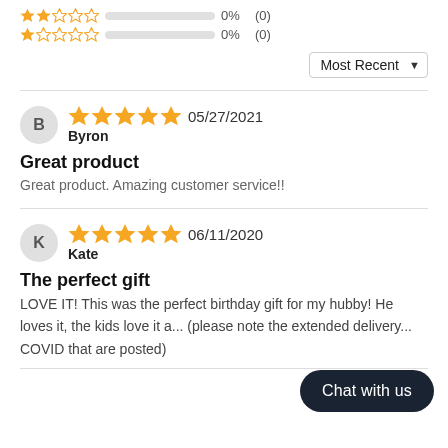★★☆☆☆  0%  (0)
★☆☆☆☆  0%  (0)
Most Recent ▼
B  ★★★★★  05/27/2021  Byron
Great product
Great product. Amazing customer service!!
K  ★★★★★  06/11/2020  Kate
The perfect gift
LOVE IT! This was the perfect birthday gift for my hubby! He loves it, the kids love it a... (please note the extended delivery... COVID that are posted)
Chat with us